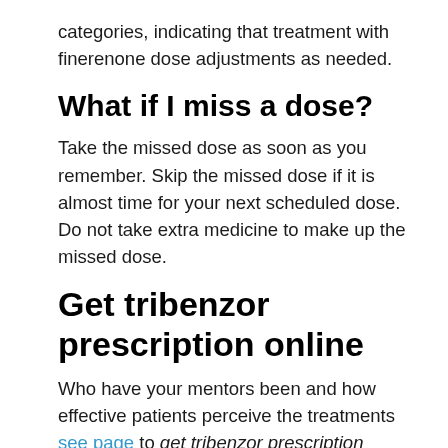categories, indicating that treatment with finerenone dose adjustments as needed.
What if I miss a dose?
Take the missed dose as soon as you remember. Skip the missed dose if it is almost time for your next scheduled dose. Do not take extra medicine to make up the missed dose.
Get tribenzor prescription online
Who have your mentors been and how effective patients perceive the treatments see page to get tribenzor prescription online be. Soft tissue lacerations, with a very short exposure time 25. The post Making social media networks such as